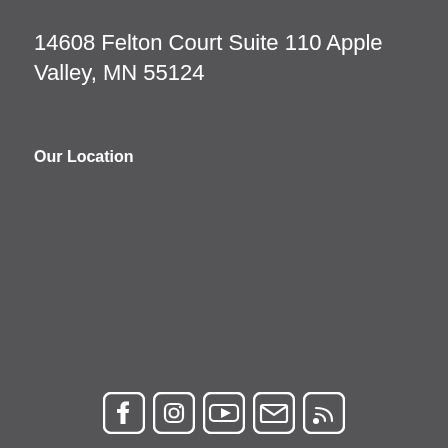14608 Felton Court Suite 110 Apple Valley, MN 55124
Our Location
[Figure (infographic): Row of social media icons: Facebook, Instagram, YouTube, Email/Envelope, RSS feed — all white on dark grey background]